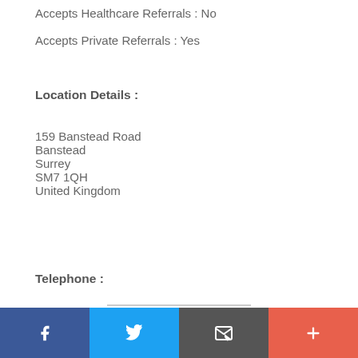Accepts Healthcare Referrals : No
Accepts Private Referrals : Yes
Location Details :
159 Banstead Road
Banstead
Surrey
SM7 1QH
United Kingdom
Telephone :
0208786 9100
Facebook | Twitter | Email | More